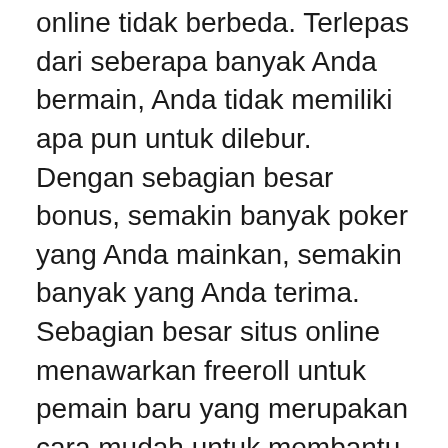online tidak berbeda. Terlepas dari seberapa banyak Anda bermain, Anda tidak memiliki apa pun untuk dilebur. Dengan sebagian besar bonus, semakin banyak poker yang Anda mainkan, semakin banyak yang Anda terima. Sebagian besar situs online menawarkan freeroll untuk pemain baru yang merupakan cara mudah untuk membantu Anda menghasilkan uang.
4 tips ini memungkinkan Anda untuk mengatasi kemiringan di meja poker, memberikan keuntungan lebih dari yang lain. Cobalah trik ini di situs poker internet, Anda menggunakan bonus poker tanpa deposit gratis untuk bermain secara gratis – tempatkan uang kemenangan dari barang gratis ini!